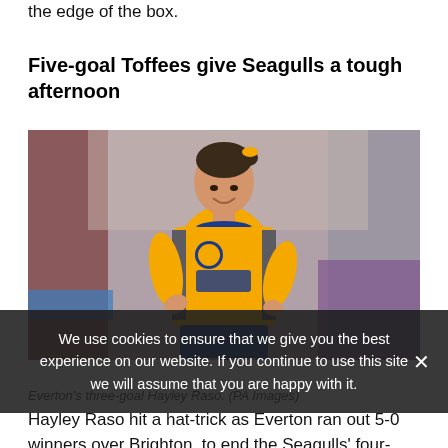the edge of the box.
Five-goal Toffees give Seagulls a tough afternoon
[Figure (photo): A female footballer wearing an Everton yellow/orange kit with blue trim, running and smiling, with a blurred stadium background.]
Everton's three-goal Hayley Raso. (PA Images)
We use cookies to ensure that we give you the best experience on our website. If you continue to use this site we will assume that you are happy with it.
Hayley Raso hit a hat-trick as Everton ran out 5-0 winners over Brighton, to end the Seagulls' four-